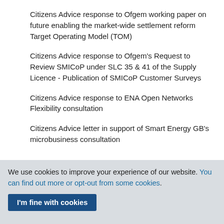Citizens Advice response to Ofgem working paper on future enabling the market-wide settlement reform Target Operating Model (TOM)
Citizens Advice response to Ofgem’s Request to Review SMICoP under SLC 35 & 41 of the Supply Licence - Publication of SMICoP Customer Surveys
Citizens Advice response to ENA Open Networks Flexibility consultation
Citizens Advice letter in support of Smart Energy GB’s microbusiness consultation
We use cookies to improve your experience of our website. You can find out more or opt-out from some cookies.